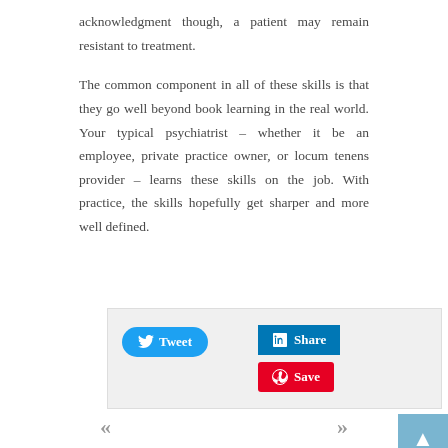acknowledgment though, a patient may remain resistant to treatment.
The common component in all of these skills is that they go well beyond book learning in the real world. Your typical psychiatrist – whether it be an employee, private practice owner, or locum tenens provider – learns these skills on the job. With practice, the skills hopefully get sharper and more well defined.
[Figure (other): Social sharing buttons: Tweet (Twitter), Share (LinkedIn), Save (Pinterest)]